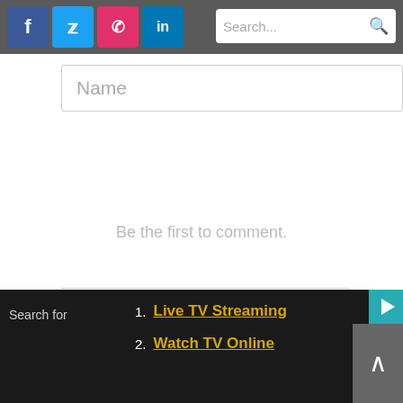[Figure (screenshot): Navigation bar with social media icons (Facebook, Twitter, Instagram, LinkedIn) and a search bar]
[Figure (screenshot): Name input field placeholder]
Be the first to comment.
[Figure (screenshot): Subscribe and Do Not Sell My Data row with DISQUS logo]
Tagged with:  Aurora
chronicle media
[Figure (screenshot): Bottom dark bar with Search for label and list items: 1. Live TV Streaming, 2. Watch TV Online, plus scroll-to-top button]